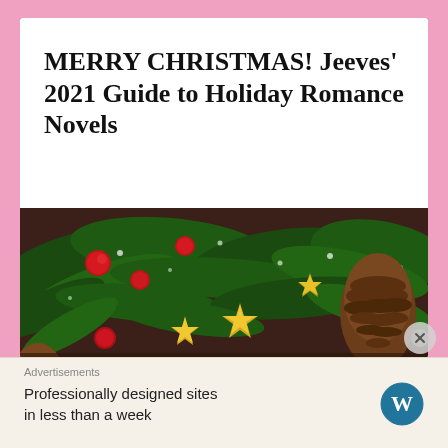MERRY CHRISTMAS! Jeeves' 2021 Guide to Holiday Romance Novels
[Figure (photo): Christmas flatlay photo showing green pine branches with red berries, gold star ornaments, a pine cone, and snow dusting on a dark wooden surface. White cursive script reading 'Merry' overlaid at the bottom.]
Advertisements
Professionally designed sites in less than a week